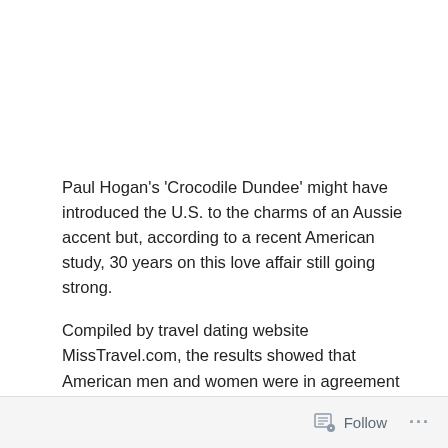Paul Hogan's 'Crocodile Dundee' might have introduced the U.S. to the charms of an Aussie accent but, according to a recent American study, 30 years on this love affair still going strong.
Compiled by travel dating website MissTravel.com, the results showed that American men and women were in agreement when it came to the sound of an Australian voice: it was the only accent to figure in both sexes Top 5.
Follow ···